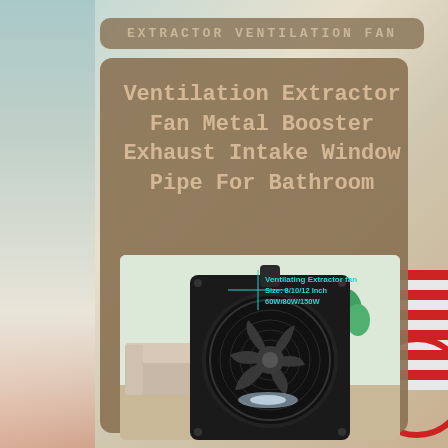EXTRACTOR VENTILATION FAN
Ventilation Extractor Fan Metal Booster Exhaust Intake Window Pipe For Bathroom
[Figure (photo): Black metal ventilating extractor fan unit shown against a room background with sofa and plants. Product label reads: Ventilating Extractor fan, Size: 8/10/12 Inch, 60W/80W/150W]